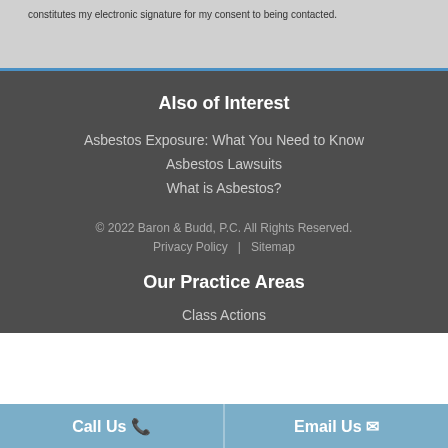constitutes my electronic signature for my consent to being contacted.
Also of Interest
Asbestos Exposure: What You Need to Know
Asbestos Lawsuits
What is Asbestos?
© 2022 Baron & Budd, P.C. All Rights Reserved.
Privacy Policy | Sitemap
Our Practice Areas
Class Actions
Call Us  Email Us